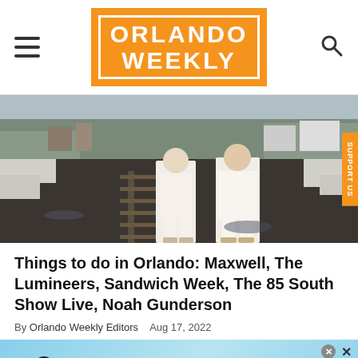ORLANDO WEEKLY
[Figure (photo): Two men in white suits standing on train tracks in a wintry scene with snow on the ground, railroad tracks visible, trees in background]
Things to do in Orlando: Maxwell, The Lumineers, Sandwich Week, The 85 South Show Live, Noah Gunderson
By Orlando Weekly Editors   Aug 17, 2022
[Figure (screenshot): BitLife advertisement banner - NOW WITH GOD MODE]